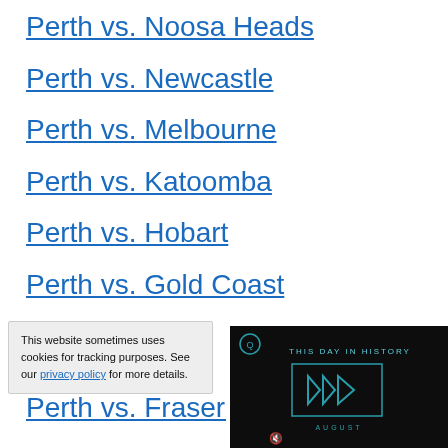Perth vs. Noosa Heads
Perth vs. Newcastle
Perth vs. Melbourne
Perth vs. Katoomba
Perth vs. Hobart
Perth vs. Gold Coast
Perth vs. Fraser I…
This website sometimes uses cookies for tracking purposes. See our privacy policy for more details.
[Figure (screenshot): A dark video player overlay showing 'THIS DAY IN HISTORY' with blue play button icons and 'AUGUST' text at bottom, with a mute icon.]